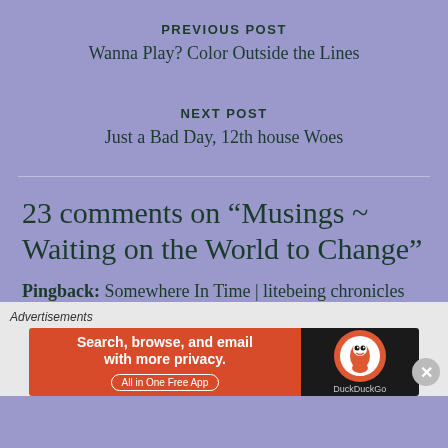PREVIOUS POST
Wanna Play? Color Outside the Lines
NEXT POST
Just a Bad Day, 12th house Woes
23 comments on “Musings ~ Waiting on the World to Change”
Pingback: Somewhere In Time | litebeing chronicles
Advertisements
[Figure (other): DuckDuckGo advertisement banner: Search, browse, and email with more privacy. All in One Free App.]